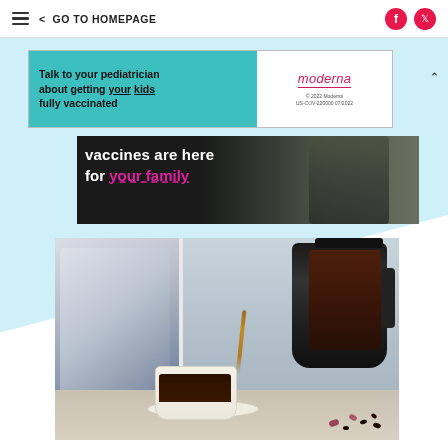≡  < GO TO HOMEPAGE
[Figure (infographic): Moderna advertisement banner: 'Talk to your pediatrician about getting your kids fully vaccinated' on teal background with Moderna logo and copyright info on white background]
[Figure (infographic): Dark banner with text 'vaccines are here for your family' where 'your family' is in pink/magenta with dashed underline, over a photo background]
[Figure (photo): Photo of a French press coffee maker pouring coffee into a white cup on a saucer, with decorative pillows and window in background, coffee beans scattered on surface]